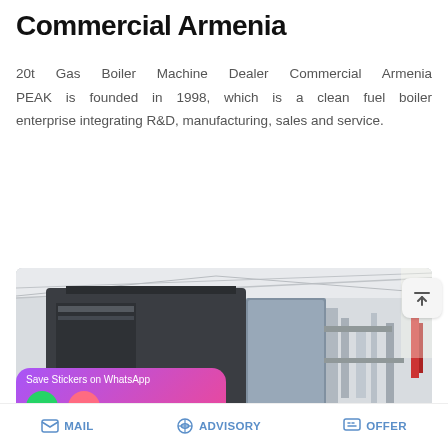Commercial Armenia
20t Gas Boiler Machine Dealer Commercial Armenia PEAK is founded in 1998, which is a clean fuel boiler enterprise integrating R&D, manufacturing, sales and service.
READ MORE
[Figure (photo): Industrial gas boiler machine installed inside a factory/warehouse building with pipes and equipment visible]
MAIL   ADVISORY   OFFER